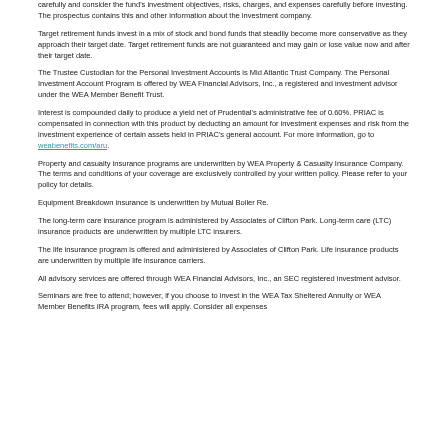carefully and consider the fund's investment objectives, risks, charges, and expenses carefully before investing. The prospectus contains this and other information about the investment company.
Target retirement funds invest in a mix of stock and bond funds that steadily become more conservative as they approach their target date. Target retirement funds are not guaranteed and may gain or lose value now and after their target date.
The Trustee Custodian for the Personal Investment Accounts is Mid Atlantic Trust Company. The Personal Investment Account Program is offered by WEA Financial Advisors, Inc., a registered and investment advisor under the WEA Member Benefit Trust.
Interest is compounded daily to produce a yield net of Prudential's administrative fee of 0.60%. PRIAC is compensated in connection with this product by deducting an amount for investment expenses and risk from the investment experience of certain assets held in PRIAC's general account. For more information, go to weabenefits.com/aru.
Property and casualty insurance programs are underwritten by WEA Property & Casualty Insurance Company. The terms and conditions of your coverage are exclusively controlled by your written policy. Please refer to your policy for details.
Equipment Breakdown insurance is underwritten by Mutual Boiler Re.
The long-term care insurance program is administered by Associates of Clifton Park. Long-term care (LTC) insurance products are underwritten by multiple LTC insurers.
The life insurance program is offered and administered by Associates of Clifton Park. Life insurance products are underwritten by multiple life insurance carriers.
All advisory services are offered through WEA Financial Advisors, Inc., an SEC registered investment advisor.
Seminars are free to attend; however, if you choose to invest in the WEA Tax Sheltered Annuity or WEA Member Benefits IRA program, fees will apply. Consider all expenses